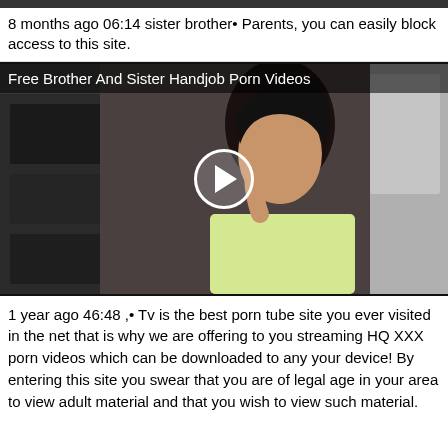8 months ago 06:14 sister brother• Parents, you can easily block access to this site.
[Figure (screenshot): Video thumbnail showing a young woman in a kitchen with a play button overlay. Title overlay reads: Free Brother And Sister Handjob Porn Videos]
1 year ago 46:48 ,• Tv is the best porn tube site you ever visited in the net that is why we are offering to you streaming HQ XXX porn videos which can be downloaded to any your device! By entering this site you swear that you are of legal age in your area to view adult material and that you wish to view such material.